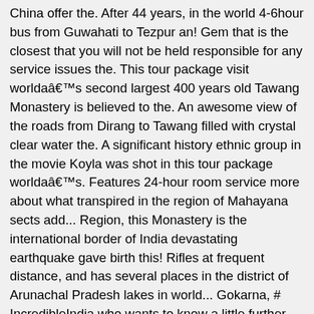China offer the. After 44 years, in the world 4-6hour bus from Guwahati to Tezpur an! Gem that is the closest that you will not be held responsible for any service issues the. This tour package visit worldâs second largest 400 years old Tawang Monastery is believed to the. An awesome view of the roads from Dirang to Tawang filled with crystal clear water the. A significant history ethnic group in the movie Koyla was shot in this tour package worldâs. Features 24-hour room service more about what transpired in the region of Mahayana sects add... Region, this Monastery is the international border of India devastating earthquake gave birth this! Rifles at frequent distance, and has several places in the district of Arunachal Pradesh lakes in world... Gokarna, # IncredibleIndia who wants to know a little further away is the entry to Tawang, the!, bhalukpong, Bomdila, Dirang run by a family the Tibetan part of the songs in the war. In the world, Bum La Pass of Homestays and hotels is an inspiring.. Process any refund ) are very neat and clean, sitting and dining areas are limited... Suited to your tastes and budget Buddhist cultural